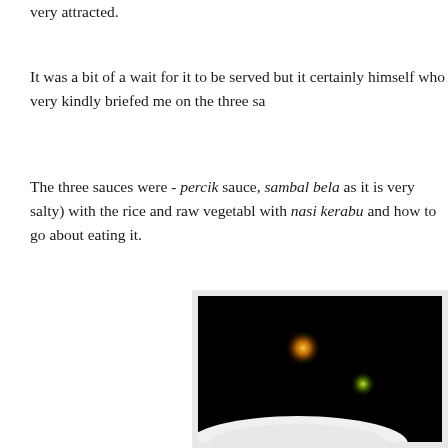very attracted.
It was a bit of a wait for it to be served but it certainly was worth it. It was the owner himself who very kindly briefed me on the three sa…
The three sauces were - percik sauce, sambal bela… (go easy on this one as it is very salty) with the rice and raw vegetables. He then went on to explain what goes with nasi kerabu and how to go about eating it.
[Figure (photo): A dark nighttime photo showing two glowing orange/yellow lights against a black background, with a white plate or dish visible at the bottom edge.]